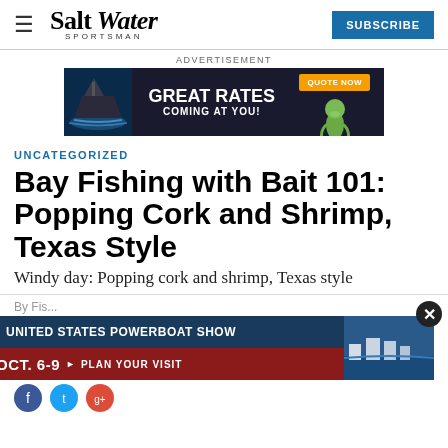Salt Water Sportsman — SUBSCRIBE
[Figure (infographic): GEICO BoatUS advertisement banner: GREAT RATES COMING AT YOU! with QUOTE NOW button and gecko mascot]
UNCATEGORIZED
Bay Fishing with Bait 101: Popping Cork and Shrimp, Texas Style
Windy day: Popping cork and shrimp, Texas style
By Fis...
[Figure (infographic): United States Powerboat Show advertisement: OCT. 6-9 PLAN YOUR VISIT, with marina photo background]